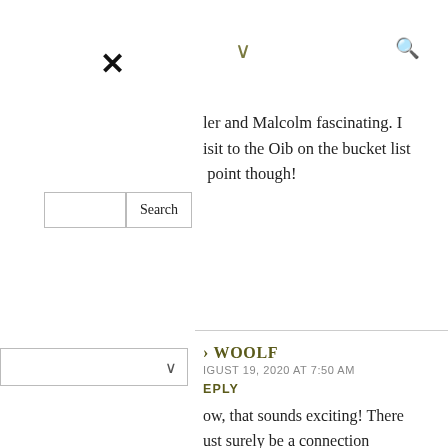×
Search
ler and Malcolm fascinating. I isit to the Oib on the bucket list point though!
∨
s on The Hazel
Maclaine's skull – a
ed
∨
Q
O WOOLF
IGUST 19, 2020 AT 7:50 AM
EPLY
ow, that sounds exciting! There ust surely be a connection nmewhere. I'm sure you would njoy a visit to Kilmory Oib and ichonan. They're so quiet and
∧